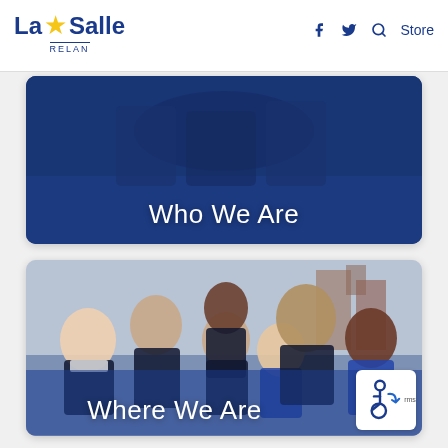La Salle RELAN — navigation header with Facebook, Twitter, Search icons and Store link
[Figure (photo): Card with blue background and students silhouette overlay, labeled 'Who We Are']
[Figure (photo): Card showing group of school children in uniforms outdoors, labeled 'Where We Are']